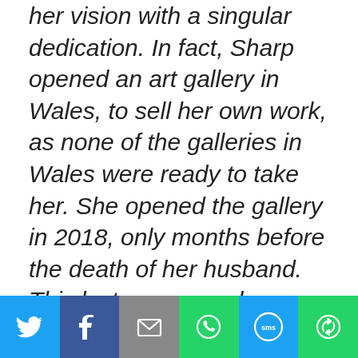her vision with a singular dedication. In fact, Sharp opened an art gallery in Wales, to sell her own work, as none of the galleries in Wales were ready to take her. She opened the gallery in 2018, only months before the death of her husband. This last year or so has seen a
[Figure (infographic): Social sharing bar with six buttons: Twitter (blue bird icon), Facebook (dark blue f icon), Email (grey envelope icon), WhatsApp (green phone icon), SMS (blue SMS icon), More/share (green circular arrows icon)]